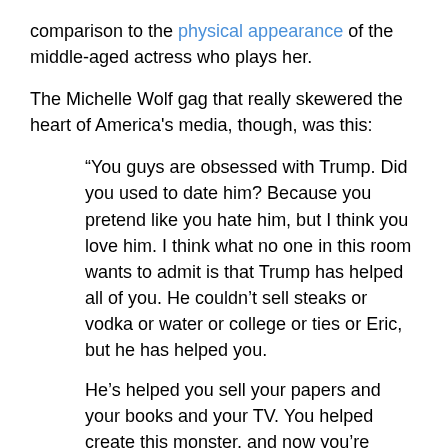comparison to the physical appearance of the middle-aged actress who plays her.
The Michelle Wolf gag that really skewered the heart of America's media, though, was this:
“You guys are obsessed with Trump. Did you used to date him? Because you pretend like you hate him, but I think you love him. I think what no one in this room wants to admit is that Trump has helped all of you. He couldn’t sell steaks or vodka or water or college or ties or Eric, but he has helped you.
He’s helped you sell your papers and your books and your TV. You helped create this monster, and now you’re profiting off him. And if you’re going to profit off Trump, you should at least give him some money,